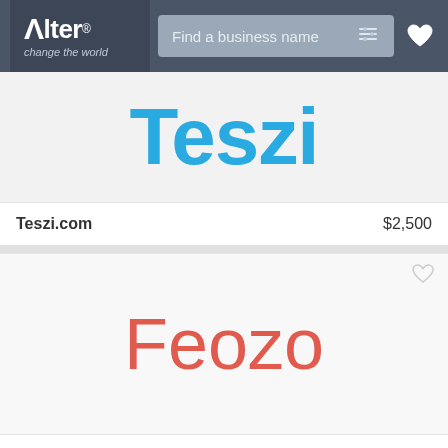Alter® change the world — Find a business name
[Figure (screenshot): Teszi brand name displayed in large bold blue text on light gray background]
Teszi.com — $2,500
[Figure (screenshot): Feozo brand name displayed in large light red/salmon text on white background]
Feozo.com — $2,499